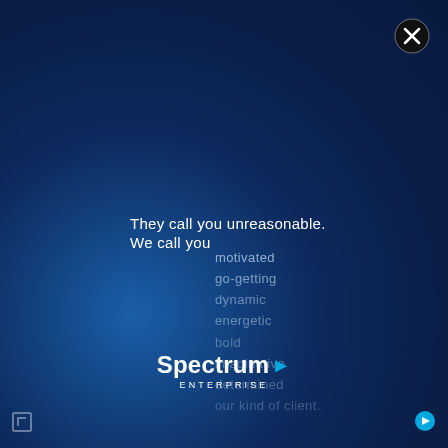[Figure (logo): Close button X in top right corner]
They call you unreasonable.
We call you motivated
go-getting
dynamic
energetic
bold
imaginative
determined
our kind of client.
[Figure (logo): Spectrum Enterprise logo at bottom center]